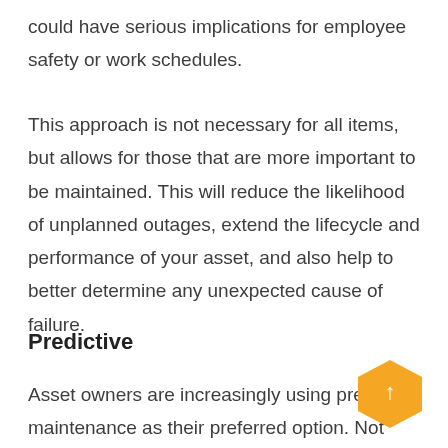could have serious implications for employee safety or work schedules.
This approach is not necessary for all items, but allows for those that are more important to be maintained. This will reduce the likelihood of unplanned outages, extend the lifecycle and performance of your asset, and also help to better determine any unexpected cause of failure.
Predictive
Asset owners are increasingly using predictive maintenance as their preferred option. Not only does